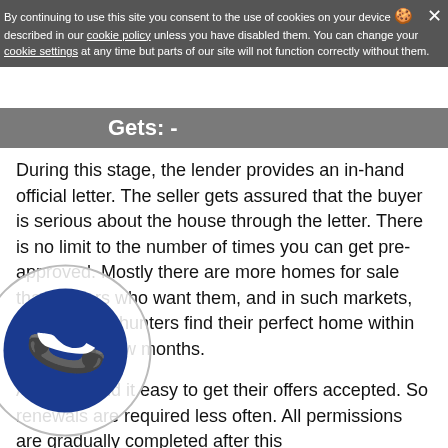other factors.
By continuing to use this site you consent to the use of cookies on your device as described in our cookie policy unless you have disabled them. You can change your cookie settings at any time but parts of our site will not function correctly without them.
Gets: -
During this stage, the lender provides an in-hand official letter. The seller gets assured that the buyer is serious about the house through the letter. There is no limit to the number of times you can get pre-approved. Mostly there are more homes for sale than buyers who want them, and in such markets, many house hunters find their perfect home within weeks or a few months.
And they find it easy to get their offers accepted. So renewals are required less often. All permissions are gradually completed after this
In most situations, the dealers want a minimum of one mortgage letter from their customers. They prefer the buyers who have approved